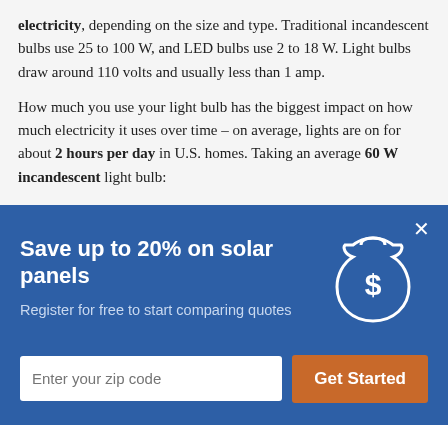electricity, depending on the size and type. Traditional incandescent bulbs use 25 to 100 W, and LED bulbs use 2 to 18 W. Light bulbs draw around 110 volts and usually less than 1 amp.
How much you use your light bulb has the biggest impact on how much electricity it uses over time – on average, lights are on for about 2 hours per day in U.S. homes. Taking an average 60 W incandescent light bulb:
Save up to 20% on solar panels
Register for free to start comparing quotes